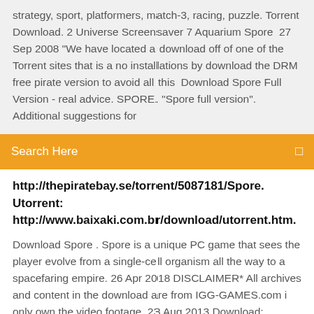strategy, sport, platformers, match-3, racing, puzzle. Torrent Download. 2 Universe Screensaver 7 Aquarium Spore  27 Sep 2008 "We have located a download off of one of the Torrent sites that is a no installations by download the DRM free pirate version to avoid all this  Download Spore Full Version - real advice. SPORE. "Spore full version". Additional suggestions for
Search Here
http://thepiratebay.se/torrent/5087181/Spore. Utorrent: http://www.baixaki.com.br/download/utorrent.htm.
Download Spore . Spore is a unique PC game that sees the player evolve from a single-cell organism all the way to a spacefaring empire. 26 Apr 2018 DISCLAIMER* All archives and content in the download are from IGG-GAMES.com i only own the video footage. 23 Aug 2013 Download: http://thepiratebay.se/torrent/5087181/Spore. Utorrent: http://www.baixaki.com.br/download/utorrent.htm. 17 Sep 201